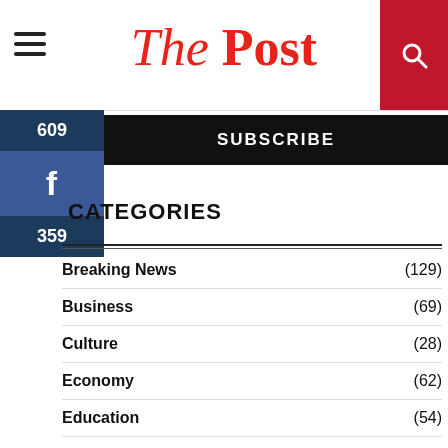The Post
SUBSCRIBE
CATEGORIES
Breaking News (129)
Business (69)
Culture (28)
Economy (62)
Education (54)
Entertainment (32)
Fashion
Health